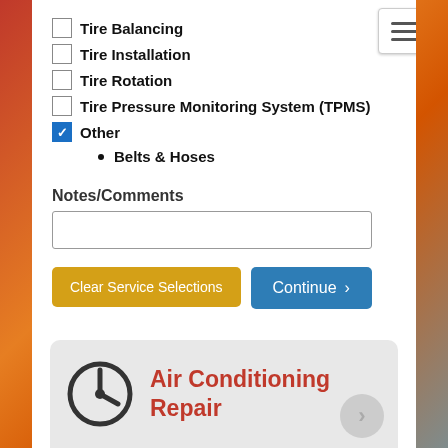Tire Balancing
Tire Installation
Tire Rotation
Tire Pressure Monitoring System (TPMS)
Other
Belts & Hoses
Notes/Comments
Clear Service Selections
Continue
Air Conditioning Repair